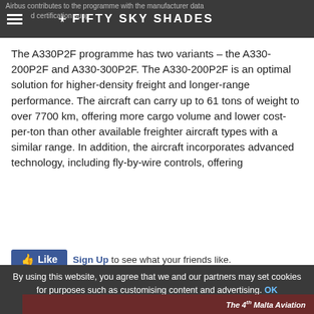Airbus contributes to the programme with the manufacturer data and certification support | FIFTY SKY SHADES
The A330P2F programme has two variants – the A330-200P2F and A330-300P2F. The A330-200P2F is an optimal solution for higher-density freight and longer-range performance. The aircraft can carry up to 61 tons of weight to over 7700 km, offering more cargo volume and lower cost-per-ton than other available freighter aircraft types with a similar range. In addition, the aircraft incorporates advanced technology, including fly-by-wire controls, offering
[Figure (screenshot): Facebook Like button with Sign Up link: 'Sign Up to see what your friends like.']
[Figure (infographic): Row of social sharing icons: WhatsApp, Facebook, Twitter, LinkedIn, StumbleUpon, Reddit, Digg, MySpace, Pinterest, Flipboard, Email]
By using this website, you agree that we and our partners may set cookies for purposes such as customising content and advertising. OK
[Figure (screenshot): The 4th Malta Aviation [advertisement banner]]